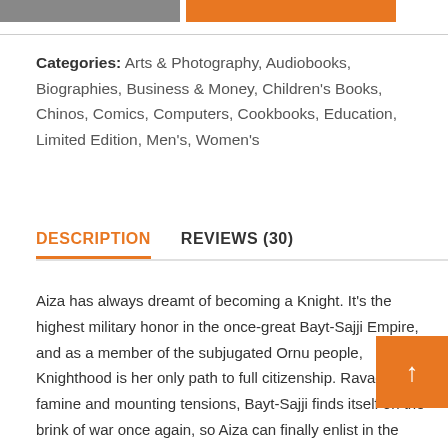[Figure (other): Top navigation bar with gray and orange segments]
Categories: Arts & Photography, Audiobooks, Biographies, Business & Money, Children's Books, Chinos, Comics, Computers, Cookbooks, Education, Limited Edition, Men's, Women's
DESCRIPTION    REVIEWS (30)
Aiza has always dreamt of becoming a Knight. It's the highest military honor in the once-great Bayt-Sajji Empire, and as a member of the subjugated Ornu people, Knighthood is her only path to full citizenship. Ravaged by famine and mounting tensions, Bayt-Sajji finds itself on the brink of war once again, so Aiza can finally enlist in the competitive Squire training progra Aiza has always dreamt of becoming a Knight. It's the highest honor in the once-great empire...